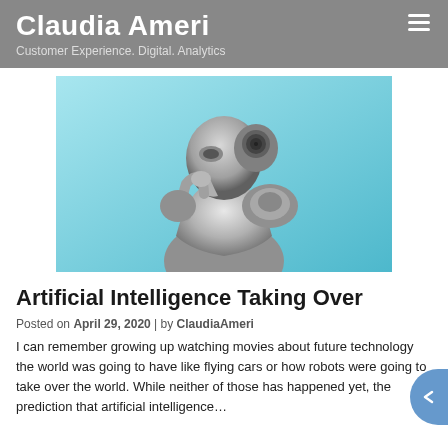Claudia Ameri
Customer Experience. Digital. Analytics
[Figure (illustration): A metallic humanoid robot in a thinking pose, chin resting on hand, with a teal/cyan gradient background. The robot has a detailed mechanical head and body with chrome-like surface.]
Artificial Intelligence Taking Over
Posted on April 29, 2020  |  by ClaudiaAmeri
I can remember growing up watching movies about future technology the world was going to have like flying cars or how robots were going to take over the world. While neither of those has happened yet, the prediction that artificial intelligence…